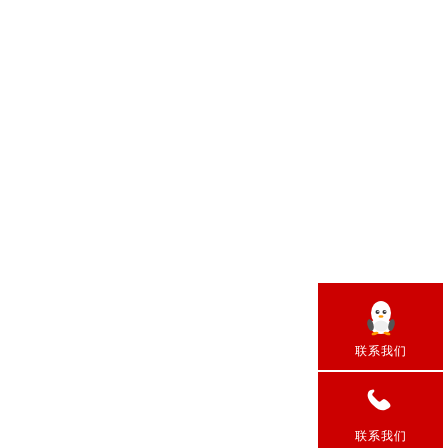Contrinex YBB-14S4-17...
Contrinex YBB-14S4-17...
Contrinex YBB-14S4-17...
Contrinex YBB-14R4-17...
Contrinex YBB-14R4-17...
Contrinex YB...
Contrinex YB...
Contrinex YBB-30S4-...
Contrinex YB...
Contrinex YB...
Contrinex YB...
Contrinex YB...
Contrinex YBB-30S4-16...
Contrinex YB...
Contrinex YB...
Contrinex YBB-30S4-14...
Contrinex YBB-30S4-16...
Contrinex YBB-30S4-17...
Contrinex YBB-30S4-18...